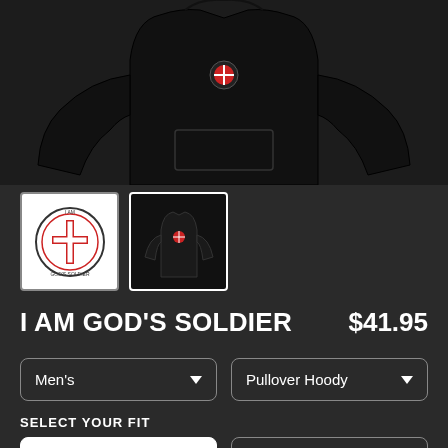[Figure (photo): Product photo of a black hoodie sweatshirt shown from front with small logo, on dark background]
[Figure (photo): Thumbnail 1: white background with red cross and circular logo (God's Soldier brand logo)]
[Figure (photo): Thumbnail 2: black background showing hoodie with logo on chest]
I AM GOD'S SOLDIER
$41.95
Men's
Pullover Hoody
SELECT YOUR FIT
$41.95
French Terry
$50.45
Sponge Fleece